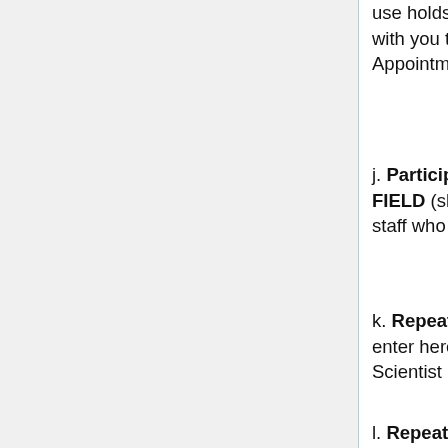use holds if your subject needs to get back with you to confirm the appointment. Appointments can only be held for 2-3 days.
j. Participants – DO NOT ALTER THIS FIELD (should always be admin for MEG staff who are doing the scheduling).
k. Repeat Type – if a recurring appointment enter here; however, check with Staff Scientist before scheduling any repeats!
l. Repeat End Date – *for recurring appointments only.